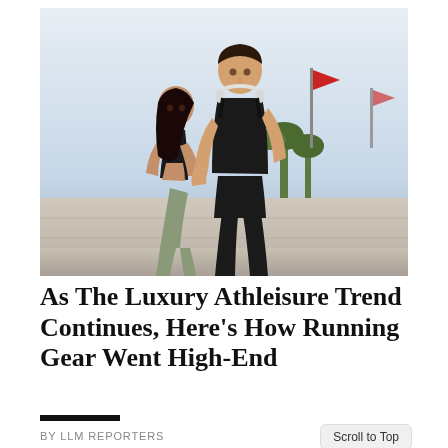[Figure (photo): Two runners (a man and a woman) jogging outdoors in athletic wear. The man wears a black tank top and black shorts with white headphones around his neck. The woman wears a black sports bra and light olive/sage leggings. Background includes a concrete wall, palm trees, and a red flag. Bright daylight conditions.]
As The Luxury Athleisure Trend Continues, Here’s How Running Gear Went High-End
BY LLM REPORTERS